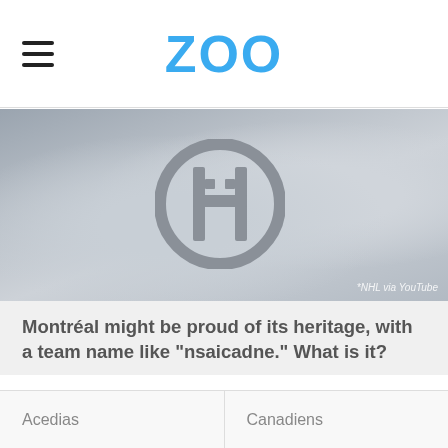ZOO
[Figure (photo): Grayscale photo of a Montreal Canadiens hockey jersey showing the CH logo, with a skate visible on the left and a glove on the right. Credit: NHL via YouTube]
Montréal might be proud of its heritage, with a team name like "nsaicadne." What is it?
Acedias
Canadiens
Canines
Nancies